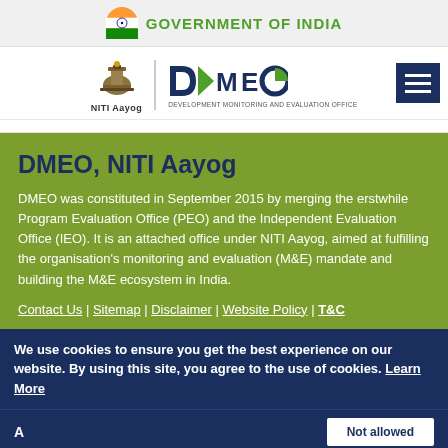GOVERNMENT OF INDIA
[Figure (logo): NITI Aayog emblem and DMEO logo side by side]
DMEO, NITI Aayog
DMEO was constituted in September 2015 by merging the erstwhile Program Evaluation Office (PEO) and the Independent Evaluation Office (IEO). It is an attached office under NITI Aayog, aimed at fulfilling the organisation's monitoring and evaluation (M&E) mandate and building the M&E ecosystem in India.
Contact Us | Sitemap | Disclaimer | Website Policy | T&C
We use cookies to ensure you get the best experience on our website. By using this site, you agree to the use of cookies. Learn More